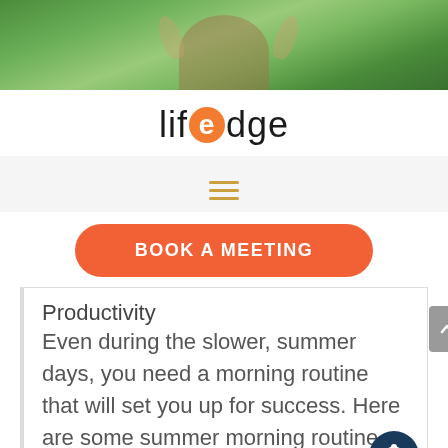[Figure (photo): Hero image showing a person outdoors with arms raised, surrounded by green trees and foliage]
lifedge
[Figure (other): Hamburger menu icon with three horizontal orange lines]
[Figure (other): Orange rounded rectangle button with text BOOK A MEETING]
Productivity
Even during the slower, summer days, you need a morning routine that will set you up for success. Here are some summer morning routine ideas.